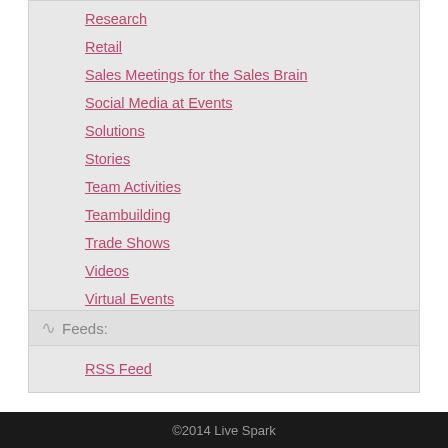Research
Retail
Sales Meetings for the Sales Brain
Social Media at Events
Solutions
Stories
Team Activities
Teambuilding
Trade Shows
Videos
Virtual Events
Worst Practices
Feeds:
RSS Feed
©2014 Live Spark